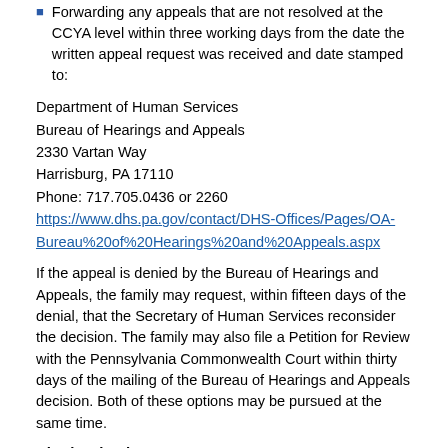Forwarding any appeals that are not resolved at the CCYA level within three working days from the date the written appeal request was received and date stamped to:
Department of Human Services
Bureau of Hearings and Appeals
2330 Vartan Way
Harrisburg, PA 17110
Phone: 717.705.0436 or 2260
https://www.dhs.pa.gov/contact/DHS-Offices/Pages/OA-Bureau%20of%20Hearings%20and%20Appeals.aspx
If the appeal is denied by the Bureau of Hearings and Appeals, the family may request, within fifteen days of the denial, that the Secretary of Human Services reconsider the decision. The family may also file a Petition for Review with the Pennsylvania Commonwealth Court within thirty days of the mailing of the Bureau of Hearings and Appeals decision. Both of these options may be pursued at the same time.
Rhode Island
Adoptive parents can request a fair hearing whenever a Department of Children, Youth and Families (DCYF) decision affects their child's adoption assistance benefits. Requests for fair hearing are made by filling out a written request for fair hearing form sent by the DCYF in response to a decision affecting adoption assistance benefits. Parents